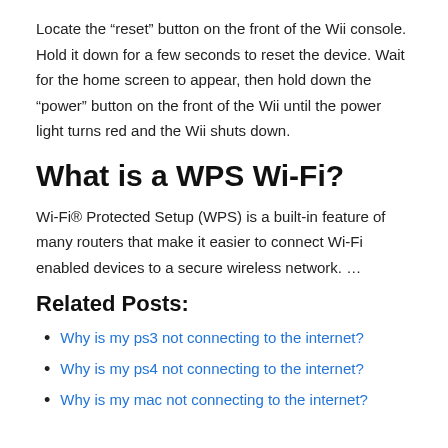Locate the “reset” button on the front of the Wii console. Hold it down for a few seconds to reset the device. Wait for the home screen to appear, then hold down the “power” button on the front of the Wii until the power light turns red and the Wii shuts down.
What is a WPS Wi-Fi?
Wi-Fi® Protected Setup (WPS) is a built-in feature of many routers that make it easier to connect Wi-Fi enabled devices to a secure wireless network. …
Related Posts:
Why is my ps3 not connecting to the internet?
Why is my ps4 not connecting to the internet?
Why is my mac not connecting to the internet?